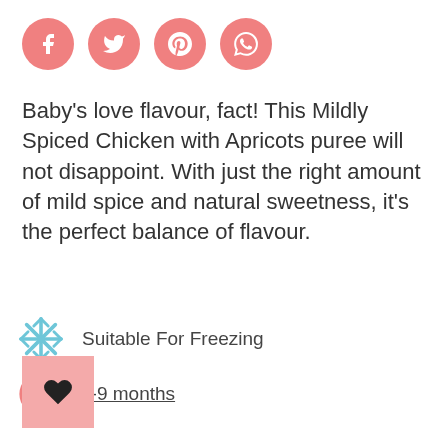[Figure (infographic): Four pink circular social media share buttons: Facebook, Twitter, Pinterest, WhatsApp]
Baby's love flavour, fact! This Mildly Spiced Chicken with Apricots puree will not disappoint. With just the right amount of mild spice and natural sweetness, it's the perfect balance of flavour.
Suitable For Freezing
6-9 months
[Figure (other): Pink square wishlist/favourite button with a heart icon]